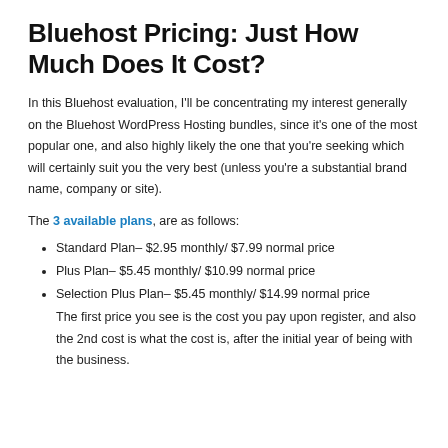Bluehost Pricing: Just How Much Does It Cost?
In this Bluehost evaluation, I'll be concentrating my interest generally on the Bluehost WordPress Hosting bundles, since it's one of the most popular one, and also highly likely the one that you're seeking which will certainly suit you the very best (unless you're a substantial brand name, company or site).
The 3 available plans, are as follows:
Standard Plan– $2.95 monthly/ $7.99 normal price
Plus Plan– $5.45 monthly/ $10.99 normal price
Selection Plus Plan– $5.45 monthly/ $14.99 normal price
The first price you see is the cost you pay upon register, and also the 2nd cost is what the cost is, after the initial year of being with the business.